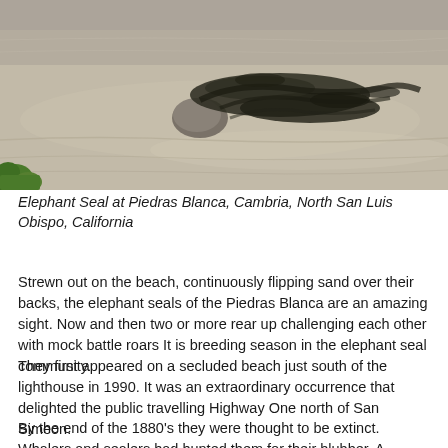[Figure (photo): A beach scene showing sand with a rock and seaweed/kelp scattered on the sand, with green vegetation visible in the lower left corner. The photo appears to show an elephant seal habitat at Piedras Blanca, Cambria, California.]
Elephant Seal at Piedras Blanca, Cambria, North San Luis Obispo, California
Strewn out on the beach, continuously flipping sand over their backs, the elephant seals of the Piedras Blanca are an amazing sight. Now and then two or more rear up challenging each other with mock battle roars It is breeding season in the elephant seal community.
They first appeared on a secluded beach just south of the lighthouse in 1990. It was an extraordinary occurrence that delighted the public travelling Highway One north of San Simeon.
By the end of the 1880's they were thought to be extinct. Whalers and sealers had hunted them for their blubber. A